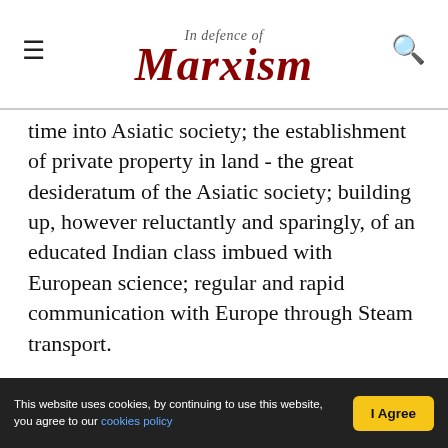In Defence of Marxism
time into Asiatic society; the establishment of private property in land - the great desideratum of the Asiatic society; building up, however reluctantly and sparingly, of an educated Indian class imbued with European science; regular and rapid communication with Europe through Steam transport.
More important than all these was the inevitable consequence of industrial capitalist exploitation of India. In order to develop the Indian market, it was essential to secure the transformation of India into a reproductive country - that is the source of raw
This website uses cookies, by continuing to use this website, you agree to our cookies policy   I Agree